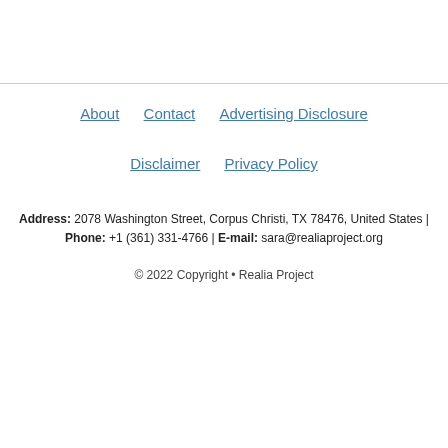About   Contact   Advertising Disclosure   Disclaimer   Privacy Policy
Address: 2078 Washington Street, Corpus Christi, TX 78476, United States | Phone: +1 (361) 331-4766 | E-mail: sara@realiaproject.org
© 2022 Copyright • Realia Project